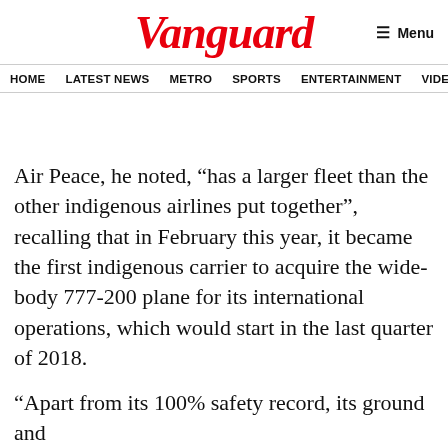Vanguard
HOME   LATEST NEWS   METRO   SPORTS   ENTERTAINMENT   VIDEOS
Air Peace, he noted, “has a larger fleet than the other indigenous airlines put together”, recalling that in February this year, it became the first indigenous carrier to acquire the wide-body 777-200 plane for its international operations, which would start in the last quarter of 2018.
“Apart from its 100% safety record, its ground and